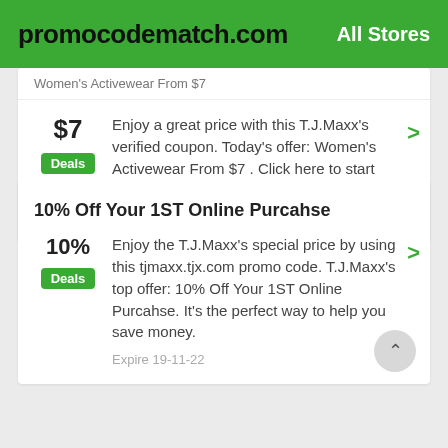promocodematch.com   All Stores
Women's Activewear From $7
$7
Deals
Enjoy a great price with this T.J.Maxx's verified coupon. Today's offer: Women's Activewear From $7 . Click here to start shopping!
Expire 20-10-22
10% Off Your 1ST Online Purcahse
10%
Deals
Enjoy the T.J.Maxx's special price by using this tjmaxx.tjx.com promo code. T.J.Maxx's top offer: 10% Off Your 1ST Online Purcahse. It's the perfect way to help you save money.
Expire 19-11-22